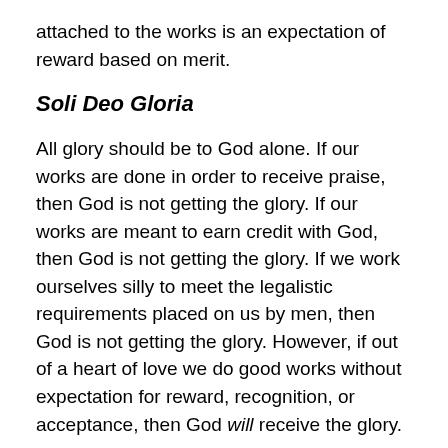attached to the works is an expectation of reward based on merit.
Soli Deo Gloria
All glory should be to God alone. If our works are done in order to receive praise, then God is not getting the glory. If our works are meant to earn credit with God, then God is not getting the glory. If we work ourselves silly to meet the legalistic requirements placed on us by men, then God is not getting the glory. However, if out of a heart of love we do good works without expectation for reward, recognition, or acceptance, then God will receive the glory.
When all glory, honor, and praise is given to the Lord, He will draw all men unto Himself. Church growth will be natural. Yet if you want credit for something, the...